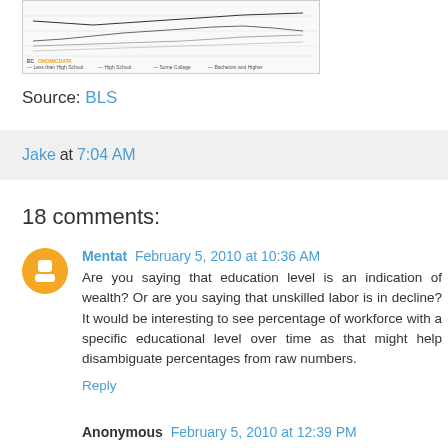[Figure (screenshot): Thumbnail of a line chart from EconomicData showing education level data over time]
Source: BLS
Jake at 7:04 AM
18 comments:
Mentat  February 5, 2010 at 10:36 AM
Are you saying that education level is an indication of wealth? Or are you saying that unskilled labor is in decline? It would be interesting to see percentage of workforce with a specific educational level over time as that might help disambiguate percentages from raw numbers.
Reply
Anonymous  February 5, 2010 at 12:39 PM